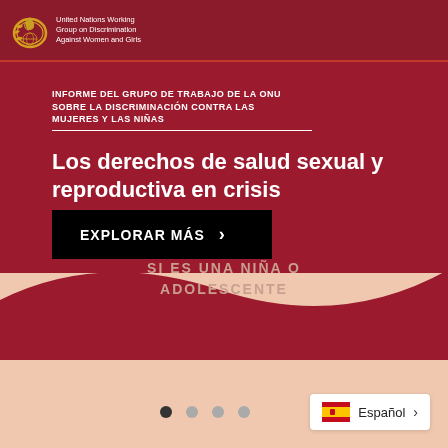United Nations Working Group on Discrimination Against Women and Girls
INFORME DEL GRUPO DE TRABAJO DE LA ONU SOBRE LA DISCRIMINACIÓN CONTRA LAS MUJERES Y LAS NIÑAS
Los derechos de salud sexual y reproductiva en crisis
EXPLORAR MÁS ›
SI ES UNA NIÑA O ADOLESCENTE
Español ›